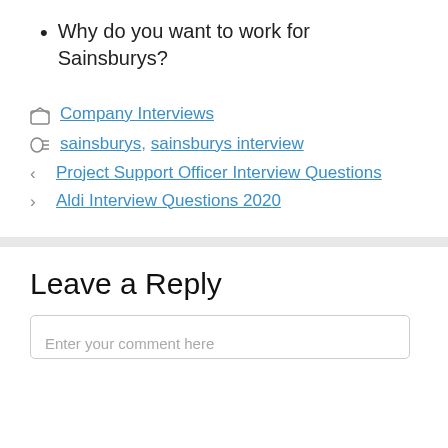Why do you want to work for Sainsburys?
Company Interviews
sainsburys, sainsburys interview
Project Support Officer Interview Questions
Aldi Interview Questions 2020
Leave a Reply
Enter your comment here